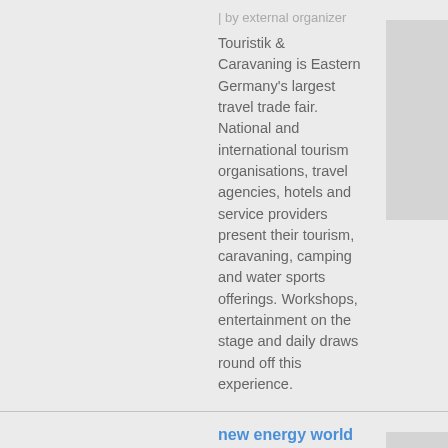| by external organizer
Touristik & Caravaning is Eastern Germany's largest travel trade fair. National and international tourism organisations, travel agencies, hotels and service providers present their tourism, caravaning, camping and water sports offerings. Workshops, entertainment on the stage and daily draws round off this experience.
new energy world
Conference and Exhibition for Energy Management, Energy Services and Networked Systems
12/10 - 12/11/2019 | CCL
The energy system is in turmoil - with far reaching consequences for industry and commerce, real-estate, utility companies, consultants and service